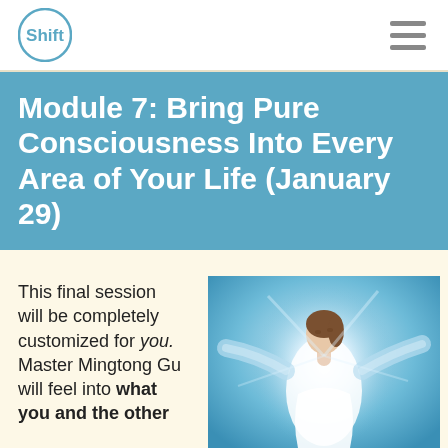Shift
Module 7: Bring Pure Consciousness Into Every Area of Your Life (January 29)
This final session will be completely customized for you. Master Mingtong Gu will feel into what you and the other
[Figure (illustration): Painting of a woman with arms raised wide, bathed in white and blue light, evoking transcendence and pure consciousness]